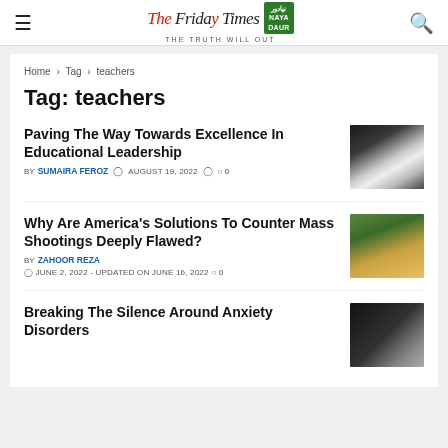The Friday Times / Naya Daur — THE TRUTH WILL OUT
Home > Tag > teachers
Tag: teachers
Paving The Way Towards Excellence In Educational Leadership
BY SUMAIRA FEROZ   AUGUST 19, 2022   0
[Figure (photo): Person in white hijab writing on a blackboard, viewed from behind]
Why Are America's Solutions To Counter Mass Shootings Deeply Flawed?
BY ZAHOOR REZA
JUNE 2, 2022 - UPDATED ON JUNE 16, 2022   0
[Figure (photo): Person working at a table with candles and greenery in background]
Breaking The Silence Around Anxiety Disorders
[Figure (photo): Silhouette of a person against a bright window]